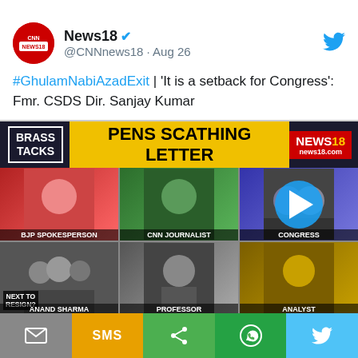[Figure (screenshot): News18 Twitter account avatar: red circle with CNN News18 logo in white]
News18 ✓ @CNNnews18 · Aug 26
#GhulamNabiAzadExit | 'It is a setback for Congress': Fmr. CSDS Dir. Sanjay Kumar

'It is high time that Congress now introspects': Pol. Analyst @KAdhikaari

'No chance they [Congress] will give fight to BJP in 2024': Sr. Journalist Neerja Choudhary

#BrassTacks | @AnushaSoni23
[Figure (screenshot): News18 Brass Tacks TV show thumbnail with grid of panelists and play button overlay. Top bar shows BRASS TACKS label, PENS SCATHING LETTER headline in yellow, News18 logo. Grid shows BJP spokesperson, CNN journalist, Congress panelist, right side group, Professor, Analyst. Next to Resign? graphic with Anand Sharma label.]